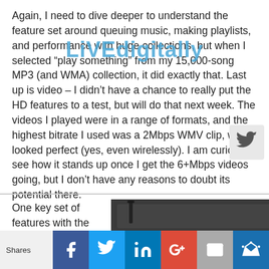[Figure (logo): LiVEdigitally watermark/logo overlaid on text]
Again, I need to dive deeper to understand the feature set around queuing music, making playlists, and performance with huge collections, but when I selected “play something” from my 15,000-song MP3 (and WMA) collection, it did exactly that. Last up is video – I didn’t have a chance to really put the HD features to a test, but will do that next week. The videos I played were in a range of formats, and the highest bitrate I used was a 2Mbps WMV clip, which looked perfect (yes, even wirelessly). I am curious to see how it stands up once I get the 6+Mbps videos going, but I don’t have any reasons to doubt its potential there.
One key set of features with the EVA8000 is its ability to act as an
[Figure (photo): Photo of back panel of EVA8000 device showing ports and connectors]
Shares | Facebook | Twitter | LinkedIn | Google+ | Email | Crown